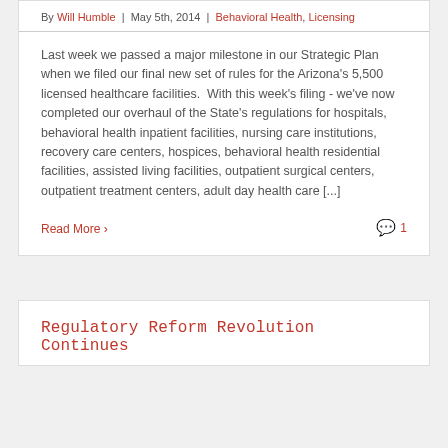By Will Humble | May 5th, 2014 | Behavioral Health, Licensing
Last week we passed a major milestone in our Strategic Plan when we filed our final new set of rules for the Arizona's 5,500 licensed healthcare facilities.  With this week's filing - we've now completed our overhaul of the State's regulations for hospitals, behavioral health inpatient facilities, nursing care institutions, recovery care centers, hospices, behavioral health residential facilities, assisted living facilities, outpatient surgical centers, outpatient treatment centers, adult day health care [...]
Read More > 1
Regulatory Reform Revolution Continues